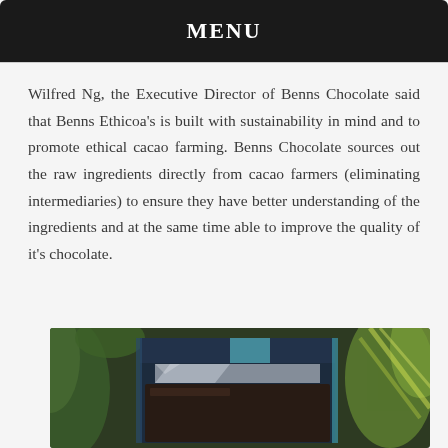MENU
Wilfred Ng, the Executive Director of Benns Chocolate said that Benns Ethicoa's is built with sustainability in mind and to promote ethical cacao farming. Benns Chocolate sources out the raw ingredients directly from cacao farmers (eliminating intermediaries) to ensure they have better understanding of the ingredients and at the same time able to improve the quality of it's chocolate.
[Figure (photo): Close-up photo of chocolate bars in dark blue packaging with teal accents, surrounded by green tropical plants in the background.]